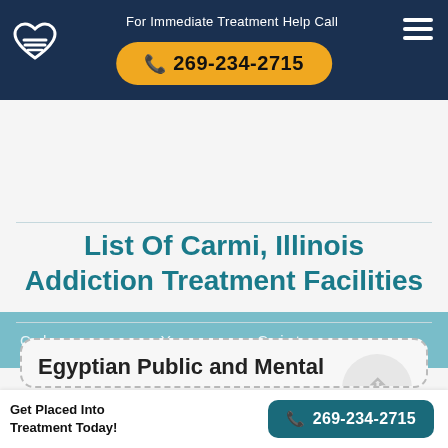For Immediate Treatment Help Call 269-234-2715
Choose Your City
List Of Carmi, Illinois Addiction Treatment Facilities
Egyptian Public and Mental
Get Placed Into Treatment Today! 269-234-2715